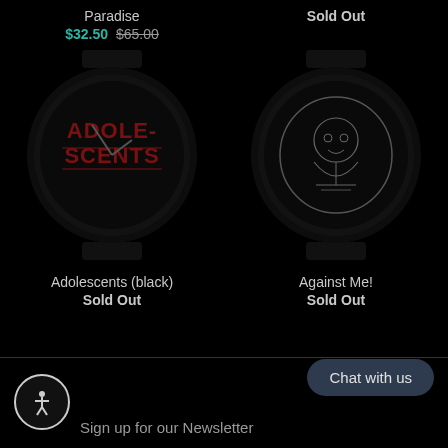Paradise
$32.50 $65.00
Sold Out
[Figure (photo): Dark watch with Adolescents band logo (red text) on black watch face]
[Figure (photo): Dark watch with skull illustration on black watch face]
Adolescents (black)
Sold Out
Against Me!
Sold Out
Chat with us
Sign up for our Newsletter